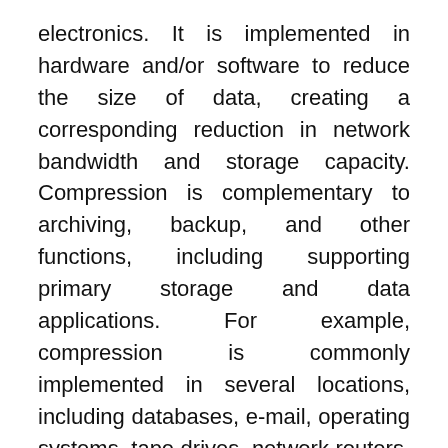electronics. It is implemented in hardware and/or software to reduce the size of data, creating a corresponding reduction in network bandwidth and storage capacity. Compression is complementary to archiving, backup, and other functions, including supporting primary storage and data applications. For example, compression is commonly implemented in several locations, including databases, e-mail, operating systems, tape drives, network routers, and compression appliances.
Some data de-duplication solutions boast spectacular ratios for data reduction, given specific scenarios such as backup of repetitive files, while providing little value over a broader range of applications. This is in contrast to data